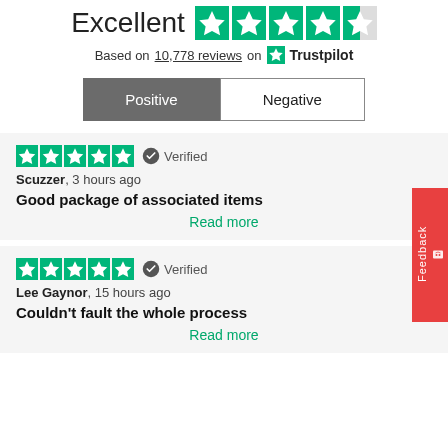Excellent ★★★★½
Based on 10,778 reviews on Trustpilot
Positive | Negative
★★★★★ Verified
Scuzzer, 3 hours ago
Good package of associated items
Read more
★★★★★ Verified
Lee Gaynor, 15 hours ago
Couldn't fault the whole process
Read more